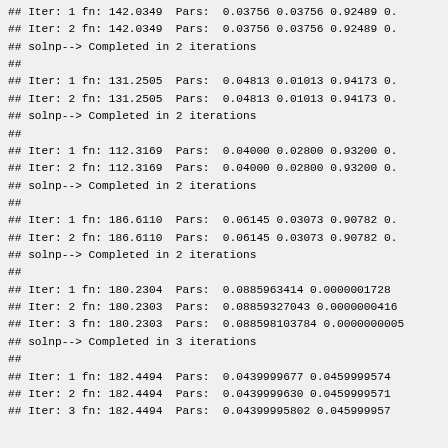## Iter: 1 fn: 142.0349  Pars:  0.03756 0.03756 0.92489 0.
## Iter: 2 fn: 142.0349  Pars:  0.03756 0.03756 0.92489 0.
## solnp--> Completed in 2 iterations
##
## Iter: 1 fn: 131.2505  Pars:  0.04813 0.01013 0.94173 0.
## Iter: 2 fn: 131.2505  Pars:  0.04813 0.01013 0.94173 0.
## solnp--> Completed in 2 iterations
##
## Iter: 1 fn: 112.3169  Pars:  0.04000 0.02800 0.93200 0.
## Iter: 2 fn: 112.3169  Pars:  0.04000 0.02800 0.93200 0.
## solnp--> Completed in 2 iterations
##
## Iter: 1 fn: 186.6110  Pars:  0.06145 0.03073 0.90782 0.
## Iter: 2 fn: 186.6110  Pars:  0.06145 0.03073 0.90782 0.
## solnp--> Completed in 2 iterations
##
## Iter: 1 fn: 180.2304  Pars:  0.0885963414 0.0000001728
## Iter: 2 fn: 180.2303  Pars:  0.08859327043 0.0000000416
## Iter: 3 fn: 180.2303  Pars:  0.088598103784 0.0000000005
## solnp--> Completed in 3 iterations
##
## Iter: 1 fn: 182.4494  Pars:  0.0439999677 0.0459999574
## Iter: 2 fn: 182.4494  Pars:  0.0439999630 0.0459999571
## Iter: 3 fn: 182.4494  Pars:  0.04399995802 0.045999957